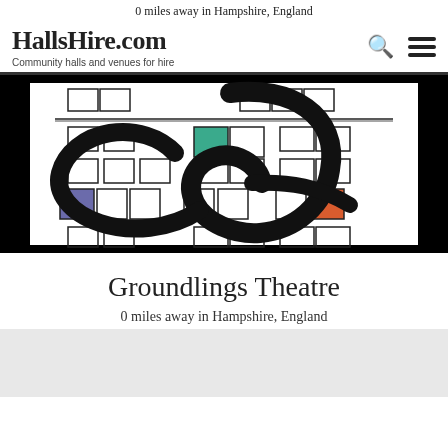0 miles away in Hampshire, England
HallsHire.com
Community halls and venues for hire
[Figure (logo): Groundlings Theatre logo — a seating plan grid with colored squares (teal, purple, orange) overlaid with a large stylized cursive G in black, on white background]
Groundlings Theatre
0 miles away in Hampshire, England